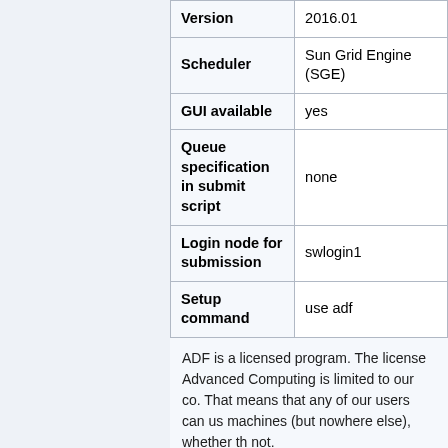| Property | Value |
| --- | --- |
| Version | 2016.01 |
| Scheduler | Sun Grid Engine (SGE) |
| GUI available | yes |
| Queue specification in submit script | none |
| Login node for submission | swlogin1 |
| Setup command | use adf |
ADF is a licensed program. The license Advanced Computing is limited to our co. That means that any of our users can us machines (but nowhere else), whether th not.
We require users of ADF to sign a statem that they are informed about the terms o in the ADF user group named "adf". Plea